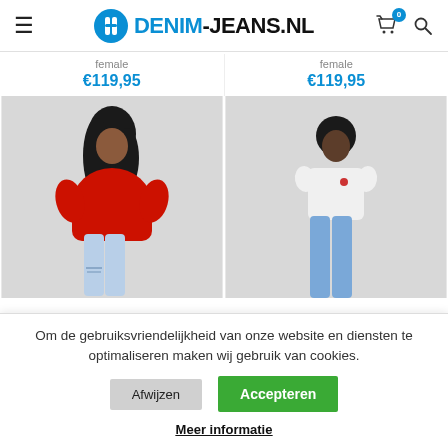DENIM-JEANS.NL
female
€119,95
female
€119,95
[Figure (photo): Woman wearing red oversized sweatshirt with light blue ripped jeans]
[Figure (photo): Woman wearing white t-shirt with light blue straight jeans]
Om de gebruiksvriendelijkheid van onze website en diensten te optimaliseren maken wij gebruik van cookies.
Afwijzen
Accepteren
Meer informatie